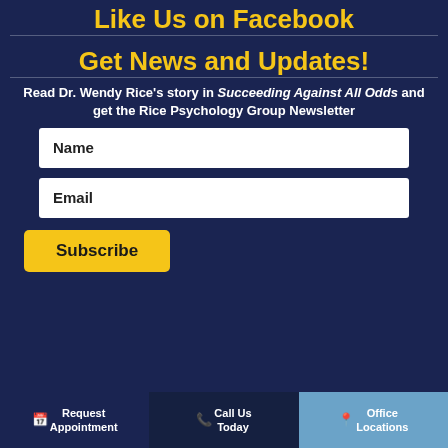Like Us on Facebook
Get News and Updates!
Read Dr. Wendy Rice's story in Succeeding Against All Odds and get the Rice Psychology Group Newsletter
Name
Email
Subscribe
Request Appointment | Call Us Today | Office Locations